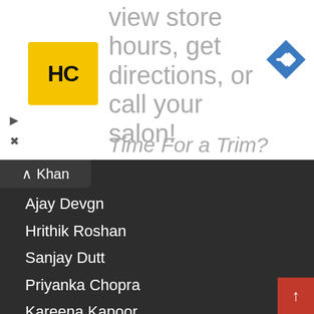[Figure (screenshot): Advertisement banner with HC logo (yellow circle with HC letters), navigation arrow icon (blue diamond with right arrow), text reading 'view store hours, get directions, or call your salon!' in grey, and partially visible 'Time For a Trim?' text. Play and close icons on the left.]
Khan
Ajay Devgn
Hrithik Roshan
Sanjay Dutt
Priyanka Chopra
Kareena Kapoor
Deepika Padukone
Kajol Devgn
SOUTH CINEMA
Samantha Akkineni
Tamannaah Bhatia
Rajinikanth
Chiranjeevi